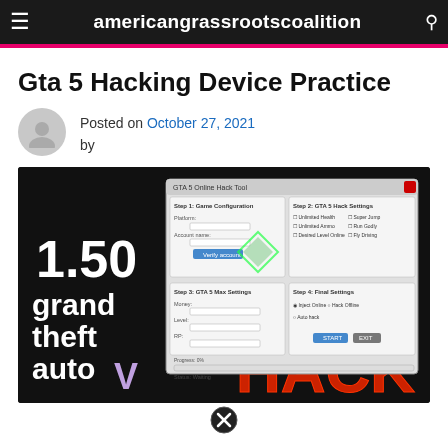americangrassrootscoalition
Gta 5 Hacking Device Practice
Posted on October 27, 2021 by
[Figure (screenshot): Screenshot of a GTA 5 Online Hack Tool software window showing game configuration, hack settings, and options. In the background is a GTA V promotional image showing the text '1.50 grand theft auto V HACK' with the word HACK in large red letters.]
(close icon)